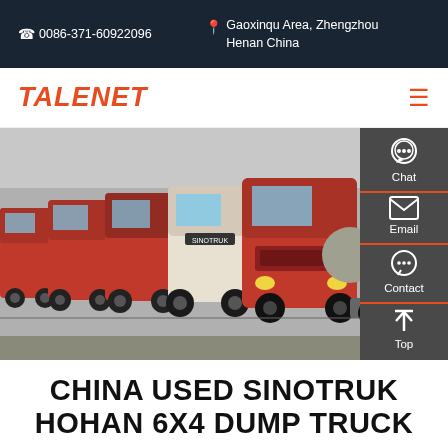0086-371-60922096   Gaoxinqu Area, Zhengzhou Henan China
TALENET
[Figure (photo): A row of red and white Sinotruk heavy trucks parked in a lot, with a tanker truck visible on the right side. The trucks are lined up facing the camera in an outdoor yard.]
CHINA USED SINOTRUK HOHAN 6X4 DUMP TRUCK